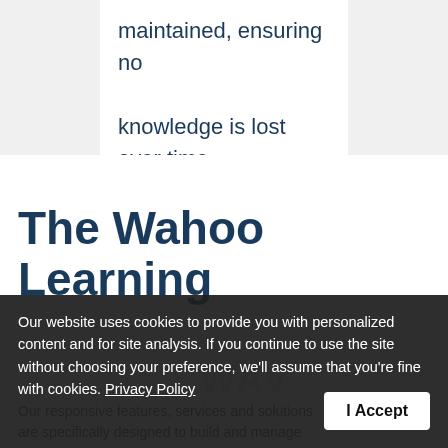maintained, ensuring no knowledge is lost over time.
The Wahoo Learning
Our website uses cookies to provide you with personalized content and for site analysis. If you continue to use the site without choosing your preference, we'll assume that you're fine with cookies. Privacy Policy
I Accept
Our responsive features, services and solutions are specifically designed to build and manage